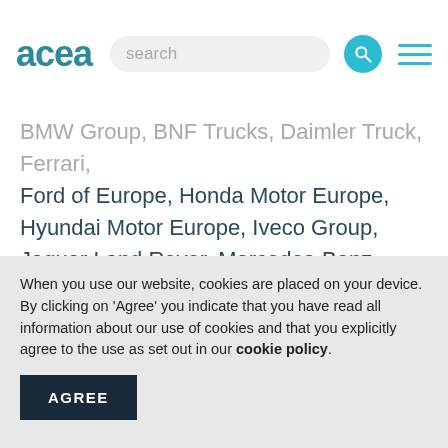acea | search
BMW Group, BNF Trucks, Daimler Truck, Ferrari, Ford of Europe, Honda Motor Europe, Hyundai Motor Europe, Iveco Group, Jaguar Land Rover, Mercedes-Benz, Renault Group, Stellantis, Toyota Motor Europe, Volkswagen Group, Volvo Cars, and Volvo Group.
Visit www.acea.auto for more information about ACEA, and follow us on www.twitter.com/ACEA_auto or
When you use our website, cookies are placed on your device. By clicking on 'Agree' you indicate that you have read all information about our use of cookies and that you explicitly agree to the use as set out in our cookie policy.